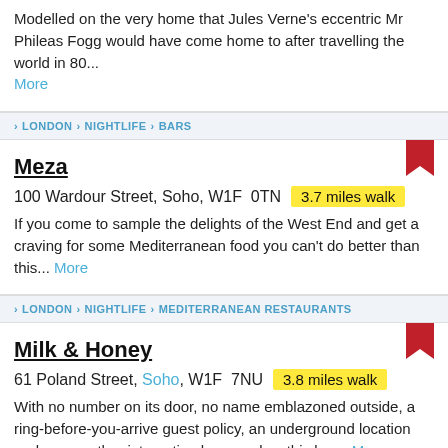Modelled on the very home that Jules Verne's eccentric Mr Phileas Fogg would have come home to after travelling the world in 80... More
LONDON > NIGHTLIFE > BARS
Meza
100 Wardour Street, Soho, W1F 0TN  3.7 miles walk
If you come to sample the delights of the West End and get a craving for some Mediterranean food you can't do better than this... More
LONDON > NIGHTLIFE > MEDITERRANEAN RESTAURANTS
Milk & Honey
61 Poland Street, Soho, W1F 7NU  3.8 miles walk
With no number on its door, no name emblazoned outside, a ring-before-you-arrive guest policy, an underground location and some rather interesting house rules, this bar... More